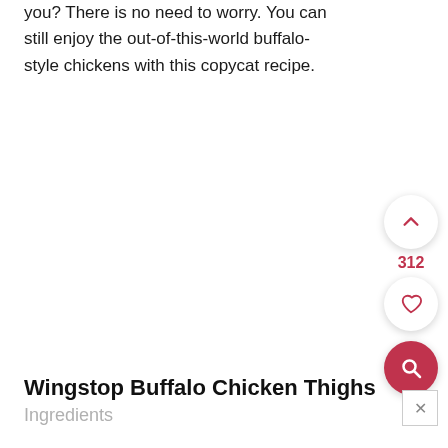you? There is no need to worry. You can still enjoy the out-of-this-world buffalo-style chickens with this copycat recipe.
[Figure (other): UI panel with upvote chevron button, vote count 312, heart/like button, and red search button]
Wingstop Buffalo Chicken Thighs
Ingredients